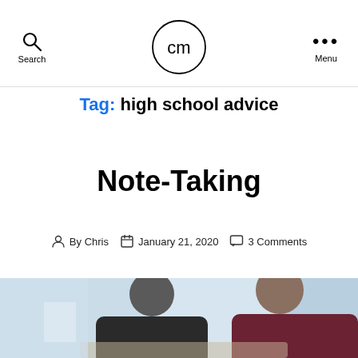Search | cm logo | Menu
Tag: high school advice
Note-Taking
By Chris   January 21, 2020   3 Comments
[Figure (photo): Two people in a classroom or meeting setting, one wearing dark jacket and one in dark red/maroon jacket, blurred background with light blue tones]